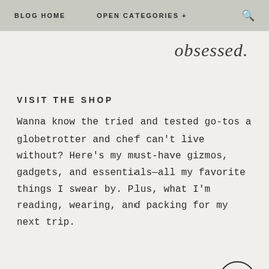BLOG HOME   OPEN CATEGORIES +   🔍
[Figure (illustration): Cursive script logo/signature reading 'obsessed.' in handwritten style]
VISIT THE SHOP
Wanna know the tried and tested go-tos a globetrotter and chef can't live without? Here's my must-have gizmos, gadgets, and essentials—all my favorite things I swear by. Plus, what I'm reading, wearing, and packing for my next trip.